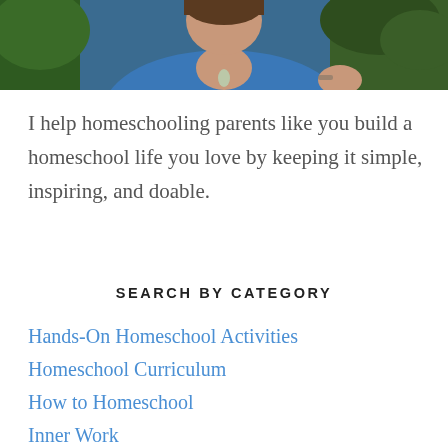[Figure (photo): Person in blue top with a necklace, partially visible from shoulders up, with green foliage background]
I help homeschooling parents like you build a homeschool life you love by keeping it simple, inspiring, and doable.
SEARCH BY CATEGORY
Hands-On Homeschool Activities
Homeschool Curriculum
How to Homeschool
Inner Work
Podcast
Simple Parenting